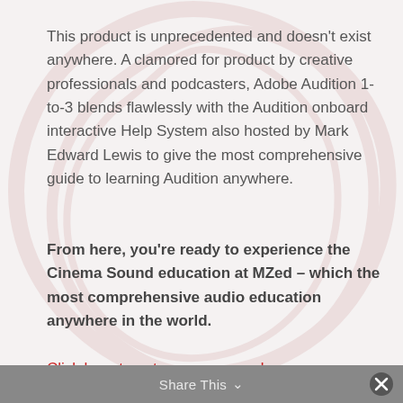This product is unprecedented and doesn't exist anywhere. A clamored for product by creative professionals and podcasters, Adobe Audition 1-to-3 blends flawlessly with the Audition onboard interactive Help System also hosted by Mark Edward Lewis to give the most comprehensive guide to learning Audition anywhere.
From here, you're ready to experience the Cinema Sound education at MZed – which the most comprehensive audio education anywhere in the world.
Click here to get your copy now!
Share This